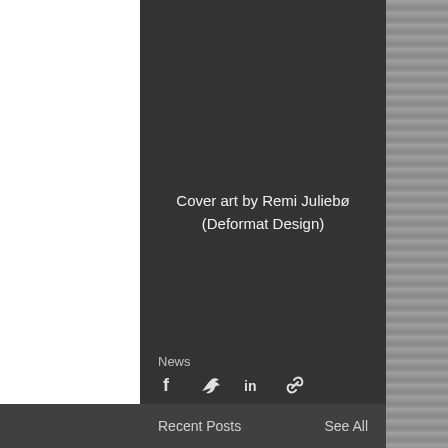[Figure (illustration): Dark fantasy illustration showing a figure in foreground with wooden cabins/houses on either side, red and orange dramatic sky and ground]
Cover art by Remi Juliebø (Deformat Design)
News
[Figure (infographic): Share icons: Facebook, Twitter, LinkedIn, and link/chain icon]
[Figure (infographic): Comment/speech bubble icon]
Recent Posts
See All